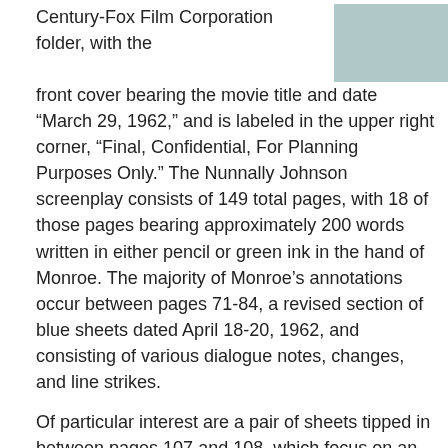Century-Fox Film Corporation folder, with the front cover bearing the movie title and date “March 29, 1962,” and is labeled in the upper right corner, “Final, Confidential, For Planning Purposes Only.” The Nunnally Johnson screenplay consists of 149 total pages, with 18 of those pages bearing approximately 200 words written in either pencil or green ink in the hand of Monroe. The majority of Monroe’s annotations occur between pages 71-84, a revised section of blue sheets dated April 18-20, 1962, and consisting of various dialogue notes, changes, and line strikes.
[Figure (photo): Scanned document image, pale blue/teal background with faint text, label 'Cont.' visible in upper right corner]
Of particular interest are a pair of sheets tipped in between pages 107 and 108, which focus on an emotional reunion between Monroe’s character Ellen, returned from several years lost at sea, and her two young children, who are no longer capable of recognizing their mother.